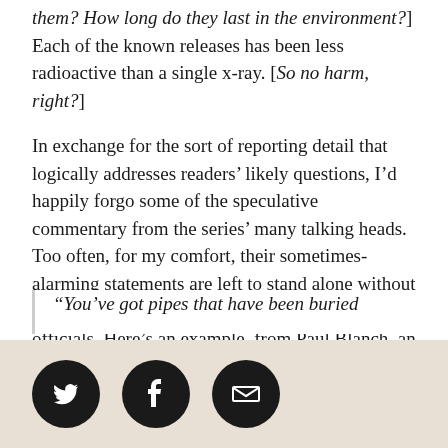them? How long do they last in the environment?] Each of the known releases has been less radioactive than a single x-ray. [So no harm, right?]
In exchange for the sort of reporting detail that logically addresses readers' likely questions, I'd happily forgo some of the speculative commentary from the series' many talking heads. Too often, for my comfort, their sometimes-alarming statements are left to stand alone without supportive evidence or response from top officials. Here's an example, from Paul Blanch, an industry engineer-turned whistleblower:
“You’ve got pipes that have been buried
[Figure (other): Social sharing buttons: Twitter, Facebook, Email icons in dark circles on beige/tan background]